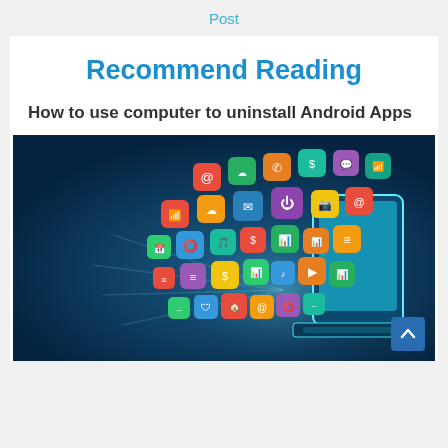Post
Recommend Reading
How to use computer to uninstall Android Apps
[Figure (illustration): Colorful mobile app icons flying out of a glowing tablet/laptop keyboard in a dark blue background, illustrating Android apps.]